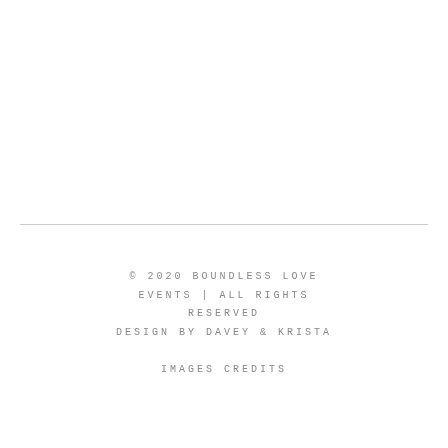© 2020 BOUNDLESS LOVE EVENTS | ALL RIGHTS RESERVED DESIGN BY DAVEY & KRISTA IMAGES CREDITS